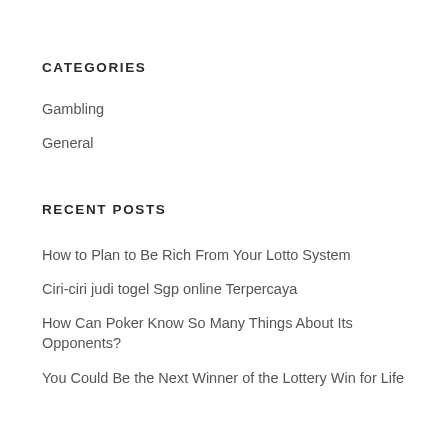CATEGORIES
Gambling
General
RECENT POSTS
How to Plan to Be Rich From Your Lotto System
Ciri-ciri judi togel Sgp online Terpercaya
How Can Poker Know So Many Things About Its Opponents?
You Could Be the Next Winner of the Lottery Win for Life